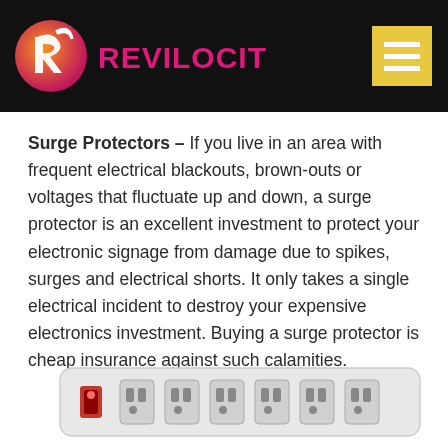[Figure (logo): Revilocity logo: circular orange/pink gradient icon with an R arrow, and the text REVILOCITY in pink/magenta capital letters on a black background]
Surge Protectors – If you live in an area with frequent electrical blackouts, brown-outs or voltages that fluctuate up and down, a surge protector is an excellent investment to protect your electronic signage from damage due to spikes, surges and electrical shorts. It only takes a single electrical incident to destroy your expensive electronics investment. Buying a surge protector is cheap insurance against such calamities.
[Figure (photo): Photo of a white power strip surge protector with multiple outlets and a red indicator light, viewed from above at a slight angle]